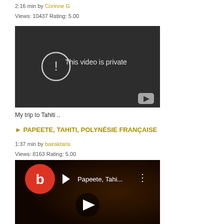2:16 min by Corinne G
Views: 10437 Rating: 5.00
[Figure (screenshot): Video thumbnail showing 'This video is private' message on dark background with YouTube play button icon]
My trip to Tahiti ..
► PAPEETE, TAHITI, POLYNÉSIE FRANÇAISE
1:37 min by bairaktaris
Views: 8163 Rating: 5.00
[Figure (screenshot): Video thumbnail showing 'Papeete, Tahi...' with red circle b logo and play button, crowd in background]